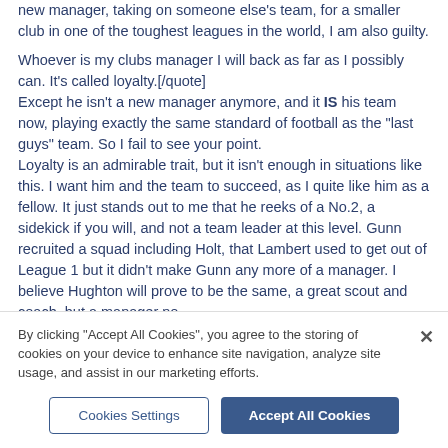new manager, taking on someone else's team, for a smaller club in one of the toughest leagues in the world, I am also guilty.

Whoever is my clubs manager I will back as far as I possibly can. It's called loyalty.[/quote]
Except he isn't a new manager anymore, and it IS his team now, playing exactly the same standard of football as the "last guys" team. So I fail to see your point.
Loyalty is an admirable trait, but it isn't enough in situations like this. I want him and the team to succeed, as I quite like him as a fellow. It just stands out to me that he reeks of a No.2, a sidekick if you will, and not a team leader at this level. Gunn recruited a squad including Holt, that Lambert used to get out of League 1 but it didn't make Gunn any more of a manager. I believe Hughton will prove to be the same, a great scout and coach, but a manager no.
By clicking "Accept All Cookies", you agree to the storing of cookies on your device to enhance site navigation, analyze site usage, and assist in our marketing efforts.
Cookies Settings
Accept All Cookies